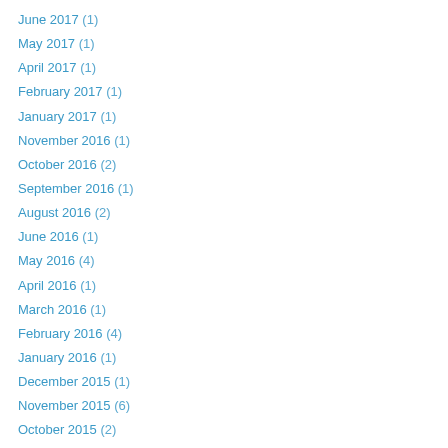June 2017 (1)
May 2017 (1)
April 2017 (1)
February 2017 (1)
January 2017 (1)
November 2016 (1)
October 2016 (2)
September 2016 (1)
August 2016 (2)
June 2016 (1)
May 2016 (4)
April 2016 (1)
March 2016 (1)
February 2016 (4)
January 2016 (1)
December 2015 (1)
November 2015 (6)
October 2015 (2)
August 2015 (2)
July 2015 (2)